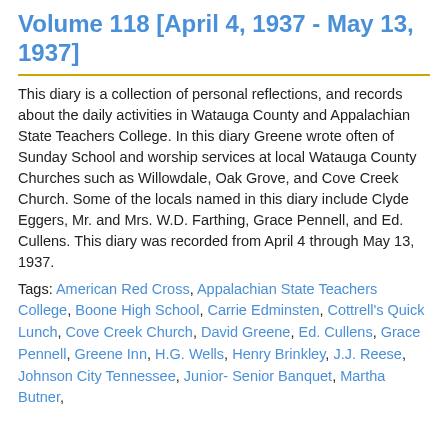Volume 118 [April 4, 1937 - May 13, 1937]
This diary is a collection of personal reflections, and records about the daily activities in Watauga County and Appalachian State Teachers College. In this diary Greene wrote often of Sunday School and worship services at local Watauga County Churches such as Willowdale, Oak Grove, and Cove Creek Church. Some of the locals named in this diary include Clyde Eggers, Mr. and Mrs. W.D. Farthing, Grace Pennell, and Ed. Cullens. This diary was recorded from April 4 through May 13, 1937.
Tags: American Red Cross, Appalachian State Teachers College, Boone High School, Carrie Edminsten, Cottrell's Quick Lunch, Cove Creek Church, David Greene, Ed. Cullens, Grace Pennell, Greene Inn, H.G. Wells, Henry Brinkley, J.J. Reese, Johnson City Tennessee, Junior- Senior Banquet, Martha Butner,